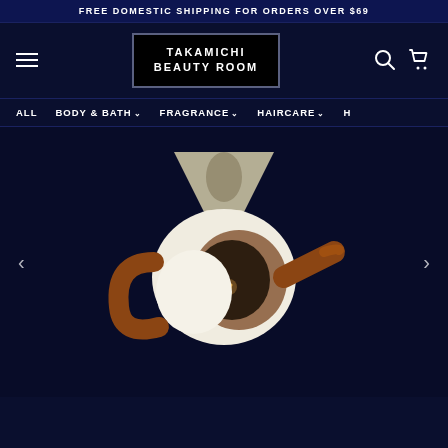FREE DOMESTIC SHIPPING FOR ORDERS OVER $69
[Figure (logo): Takamichi Beauty Room logo — white text on black background with border]
ALL  BODY & BATH  FRAGRANCE  HAIRCARE
[Figure (photo): Ceramic cat-shaped teapot with funnel-shaped top, brown handle and spout, white and brown cat face with large dark eye, displayed on dark navy background]